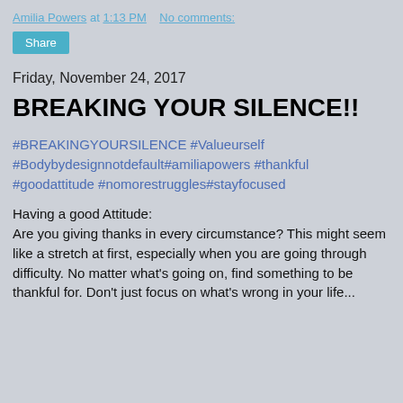Amilia Powers at 1:13 PM   No comments:
[Figure (other): Share button (teal/cyan background with white text)]
Friday, November 24, 2017
BREAKING YOUR SILENCE!!
#BREAKINGYOURSILENCE #Valueurself #Bodybydesignnotdefault#amiliapowers #thankful #goodattitude #nomorestruggles#stayfocused
Having a good Attitude:
Are you giving thanks in every circumstance? This might seem like a stretch at first, especially when you are going through difficulty. No matter what's going on, find something to be thankful for. Don't just focus on what's wrong in your life...